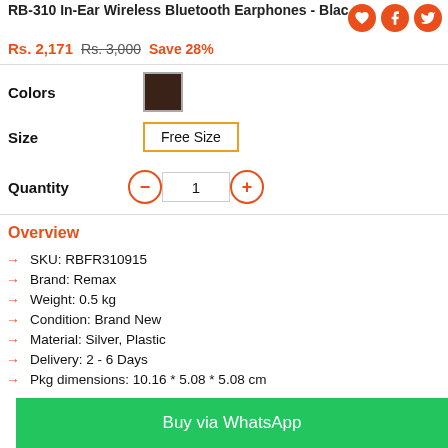RB-310 In-Ear Wireless Bluetooth Earphones - Black
Rs. 2,171  Rs. 3,000  Save 28%
Colors
Size  Free Size
Quantity  1
Overview
SKU: RBFR310915
Brand: Remax
Weight: 0.5 kg
Condition: Brand New
Material: Silver, Plastic
Delivery: 2 - 6 Days
Pkg dimensions: 10.16 * 5.08 * 5.08 cm
Buy via WhatsApp